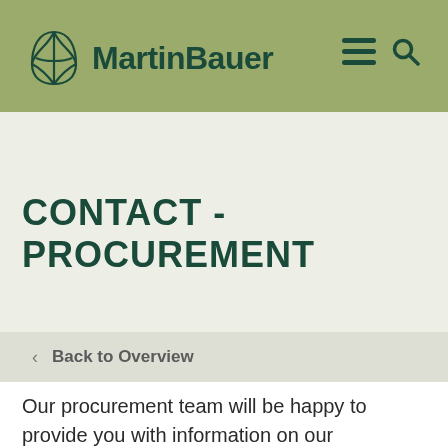MartinBauer
CONTACT - PROCUREMENT
< Back to Overview
Our procurement team will be happy to provide you with information on our requirements. Get in touch with us.